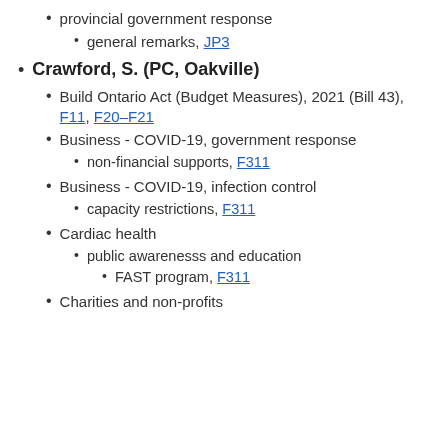provincial government response
general remarks, JP3
Crawford, S. (PC, Oakville)
Build Ontario Act (Budget Measures), 2021 (Bill 43), F11, F20–F21
Business - COVID-19, government response
non-financial supports, F311
Business - COVID-19, infection control
capacity restrictions, F311
Cardiac health
public awarenesss and education
FAST program, F311
Charities and non-profits